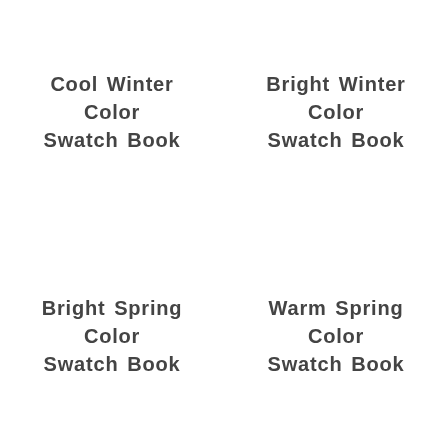Cool Winter Color Swatch Book
Bright Winter Color Swatch Book
Bright Spring Color Swatch Book
Warm Spring Color Swatch Book